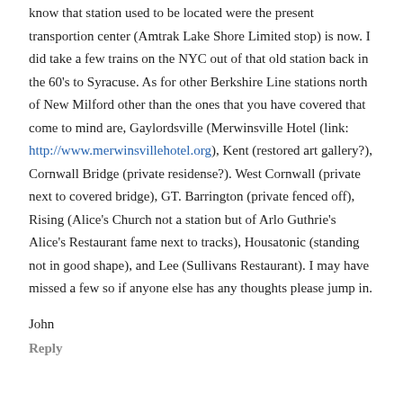know that station used to be located were the present transportion center (Amtrak Lake Shore Limited stop) is now. I did take a few trains on the NYC out of that old station back in the 60's to Syracuse. As for other Berkshire Line stations north of New Milford other than the ones that you have covered that come to mind are, Gaylordsville (Merwinsville Hotel (link: http://www.merwinsvillehotel.org), Kent (restored art gallery?), Cornwall Bridge (private residense?). West Cornwall (private next to covered bridge), GT. Barrington (private fenced off), Rising (Alice's Church not a station but of Arlo Guthrie's Alice's Restaurant fame next to tracks), Housatonic (standing not in good shape), and Lee (Sullivans Restaurant). I may have missed a few so if anyone else has any thoughts please jump in.
John
Reply